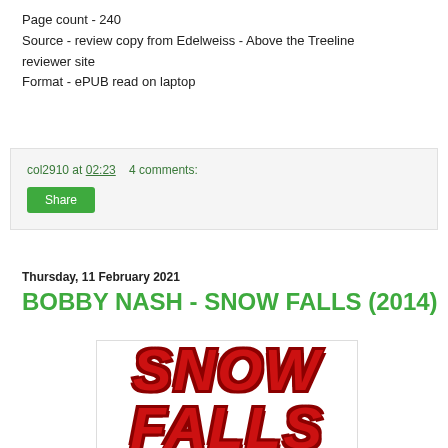Page count - 240
Source - review copy from Edelweiss - Above the Treeline reviewer site
Format - ePUB read on laptop
col2910 at 02:23    4 comments:
Share
Thursday, 11 February 2021
BOBBY NASH - SNOW FALLS (2014)
[Figure (photo): Book cover showing 'SNOW FALLS' text in large red bold italic letters with dark red shadow/outline effect]